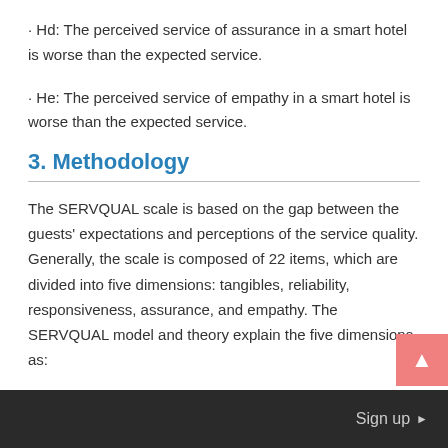· Hd: The perceived service of assurance in a smart hotel is worse than the expected service.
· He: The perceived service of empathy in a smart hotel is worse than the expected service.
3. Methodology
The SERVQUAL scale is based on the gap between the guests' expectations and perceptions of the service quality. Generally, the scale is composed of 22 items, which are divided into five dimensions: tangibles, reliability, responsiveness, assurance, and empathy. The SERVQUAL model and theory explain the five dimensions as:
Sign up ▶